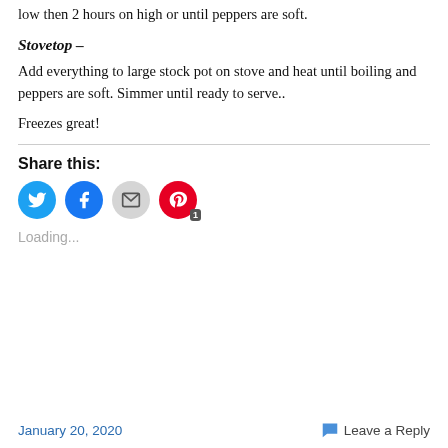low then 2 hours on high or until peppers are soft.
Stovetop –
Add everything to large stock pot on stove and heat until boiling and peppers are soft. Simmer until ready to serve..
Freezes great!
Share this:
[Figure (infographic): Social sharing icons: Twitter (blue), Facebook (blue), Email (gray), Pinterest (red with badge '1')]
Loading...
January 20, 2020    Leave a Reply